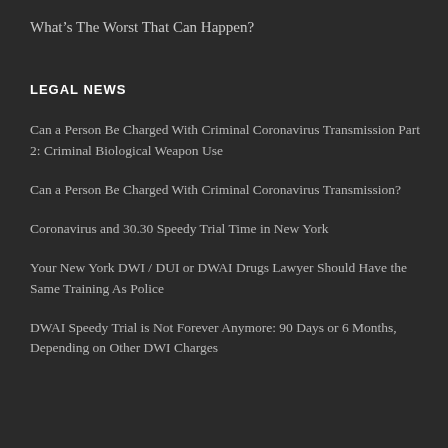What's The Worst That Can Happen?
LEGAL NEWS
Can a Person Be Charged With Criminal Coronavirus Transmission Part 2: Criminal Biological Weapon Use
Can a Person Be Charged With Criminal Coronavirus Transmission?
Coronavirus and 30.30 Speedy Trial Time in New York
Your New York DWI / DUI or DWAI Drugs Lawyer Should Have the Same Training As Police
DWAI Speedy Trial is Not Forever Anymore: 90 Days or 6 Months, Depending on Other DWI Charges